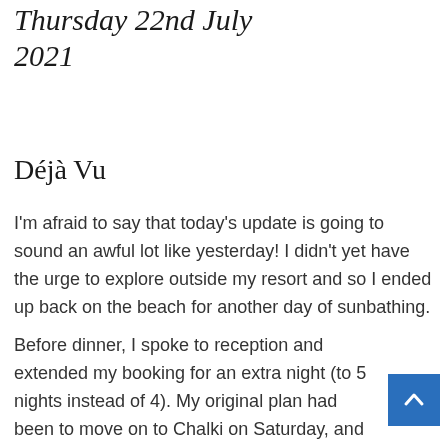Thursday 22nd July 2021
Déjà Vu
I'm afraid to say that today's update is going to sound an awful lot like yesterday! I didn't yet have the urge to explore outside my resort and so I ended up back on the beach for another day of sunbathing.
Before dinner, I spoke to reception and extended my booking for an extra night (to 5 nights instead of 4). My original plan had been to move on to Chalki on Saturday, and from there to Tilos, thereby circumventing the larger, tourist-heavy island of Rhodes...